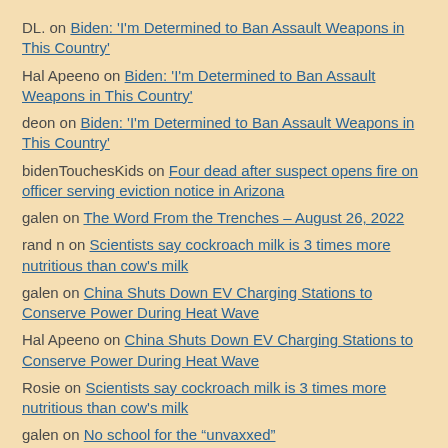DL. on Biden: 'I'm Determined to Ban Assault Weapons in This Country'
Hal Apeeno on Biden: 'I'm Determined to Ban Assault Weapons in This Country'
deon on Biden: 'I'm Determined to Ban Assault Weapons in This Country'
bidenTouchesKids on Four dead after suspect opens fire on officer serving eviction notice in Arizona
galen on The Word From the Trenches – August 26, 2022
rand n on Scientists say cockroach milk is 3 times more nutritious than cow's milk
galen on China Shuts Down EV Charging Stations to Conserve Power During Heat Wave
Hal Apeeno on China Shuts Down EV Charging Stations to Conserve Power During Heat Wave
Rosie on Scientists say cockroach milk is 3 times more nutritious than cow's milk
galen on No school for the “unvaxxed”
DL. on ...